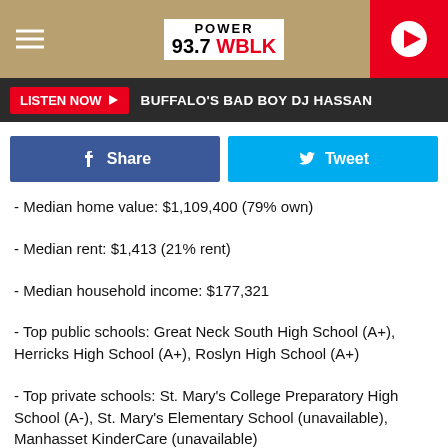POWER 93.7 WBLK
LISTEN NOW ▶  BUFFALO'S BAD BOY DJ HASSAN
[Figure (infographic): Facebook Share button and Twitter Tweet button row]
- Median home value: $1,109,400 (79% own)
- Median rent: $1,413 (21% rent)
- Median household income: $177,321
- Top public schools: Great Neck South High School (A+), Herricks High School (A+), Roslyn High School (A+)
- Top private schools: St. Mary's College Preparatory High School (A-), St. Mary's Elementary School (unavailable), Manhasset KinderCare (unavailable)